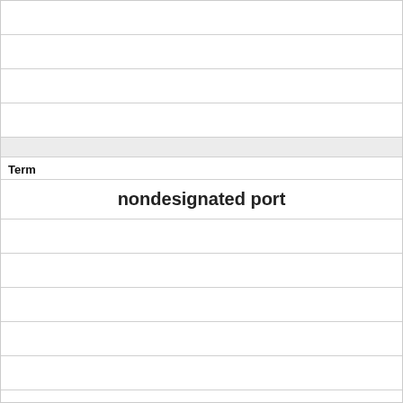Term
nondesignated port
Definition
An STP port dynamically configured to be in a blocking state to prevent loops.